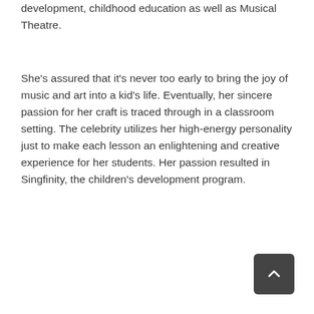development, childhood education as well as Musical Theatre.
She's assured that it's never too early to bring the joy of music and art into a kid's life. Eventually, her sincere passion for her craft is traced through in a classroom setting. The celebrity utilizes her high-energy personality just to make each lesson an enlightening and creative experience for her students. Her passion resulted in Singfinity, the children's development program.